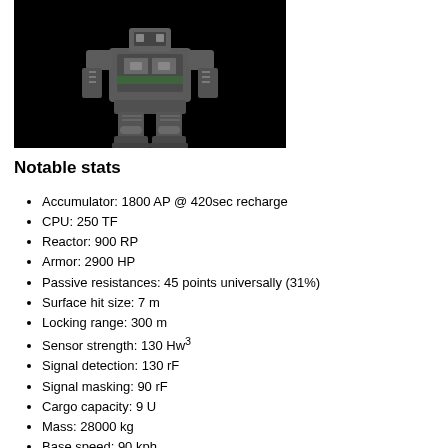[Figure (illustration): A mechanical robot/mech unit rendered in dark tones against a black background, showing a bipedal armored machine with visible mechanical joints and panels.]
Notable stats
Accumulator: 1800 AP @ 420sec recharge
CPU: 250 TF
Reactor: 900 RP
Armor: 2900 HP
Passive resistances: 45 points universally (31%)
Surface hit size: 7 m
Locking range: 300 m
Sensor strength: 130 Hw³
Signal detection: 130 rF
Signal masking: 90 rF
Cargo capacity: 9 U
Mass: 28000 kg
Base speed: 90 kph